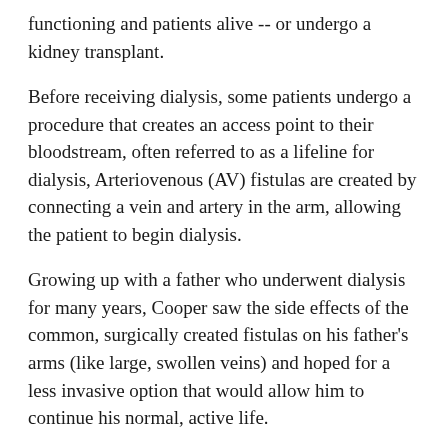functioning and patients alive -- or undergo a kidney transplant.
Before receiving dialysis, some patients undergo a procedure that creates an access point to their bloodstream, often referred to as a lifeline for dialysis, Arteriovenous (AV) fistulas are created by connecting a vein and artery in the arm, allowing the patient to begin dialysis.
Growing up with a father who underwent dialysis for many years, Cooper saw the side effects of the common, surgically created fistulas on his father's arms (like large, swollen veins) and hoped for a less invasive option that would allow him to continue his normal, active life.
While working with his doctor, Cooper discovered the Ellipsys® Vascular Access System -- a less invasive option for creating AV fistulas that's done through an out-patient procedure. While potential risks associated with creation